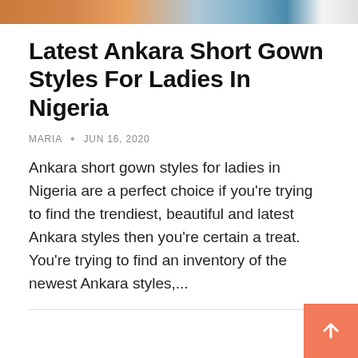[Figure (photo): Partial top banner image showing colorful fabric/clothing and a car license plate area]
Latest Ankara Short Gown Styles For Ladies In Nigeria
MARIA • JUN 16, 2020
Ankara short gown styles for ladies in Nigeria are a perfect choice if you're trying to find the trendiest, beautiful and latest Ankara styles then you're certain a treat. You're trying to find an inventory of the newest Ankara styles,...